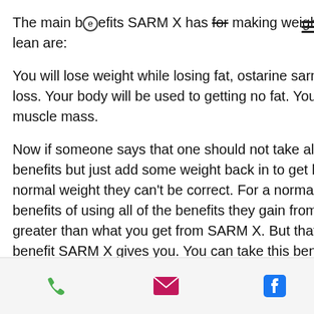The main benefits SARM X has for making weight and getting lean are:
You will lose weight while losing fat, ostarine sarm for weight loss. Your body will be used to getting no fat. You won't lose muscle mass.
Now if someone says that one should not take all these benefits but just add some weight back in to get back to normal weight they can't be correct. For a normal person, the benefits of using all of the benefits they gain from SARM X are greater than what you get from SARM X. But that is the benefit SARM X gives you. You can take this benefit and get into skinny/slim territory if you want to, sarm for weight ostarine loss.
[Figure (infographic): Footer bar with social media icons: phone (green), email (pink/magenta), Facebook (blue), Instagram (outlined)]